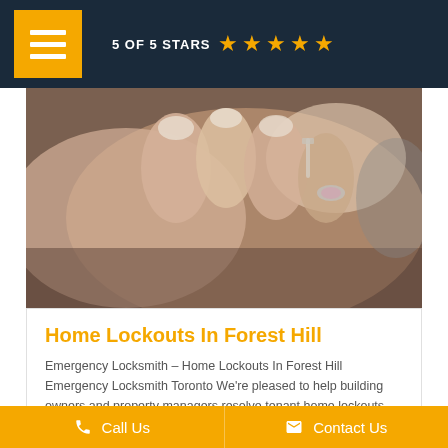5 OF 5 STARS ★★★★★
[Figure (photo): Close-up photo of hands working on a lock, locksmith service image]
Home Lockouts In Forest Hill
Emergency Locksmith – Home Lockouts In Forest Hill Emergency Locksmith Toronto We're pleased to help building owners and property managers resolve tenant home lockouts and
admin • September 22, 2021
Call Us   Contact Us